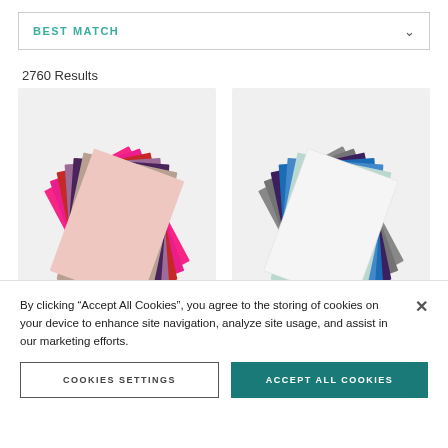BEST MATCH
2760 Results
[Figure (illustration): Fan of colored cardstock sheets in pinks, reds, purples, lavender, and tan/blush tones]
[Figure (illustration): Fan of colored cardstock sheets in gray, dark purple, blue, light blue/teal, and white tones]
By clicking "Accept All Cookies", you agree to the storing of cookies on your device to enhance site navigation, analyze site usage, and assist in our marketing efforts.
COOKIES SETTINGS
ACCEPT ALL COOKIES